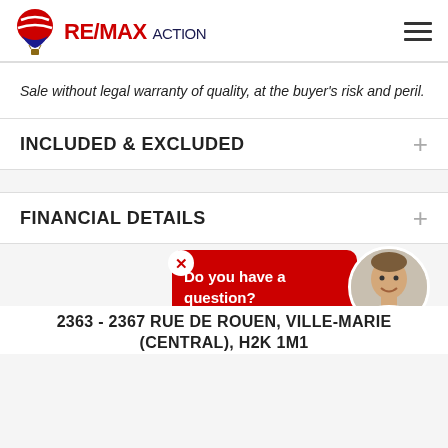[Figure (logo): RE/MAX ACTION logo with hot air balloon icon and brand name]
Sale without legal warranty of quality, at the buyer's risk and peril.
INCLUDED & EXCLUDED
FINANCIAL DETAILS
[Figure (photo): Chat popup with agent photo. Text: Do you have a question?]
2363 - 2367 RUE DE ROUEN, VILLE-MARIE (CENTRAL), H2K 1M1